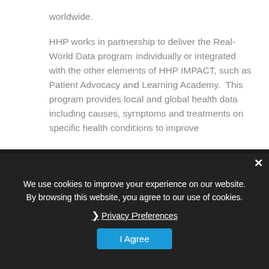worldwide.
HHP works in partnership to deliver the Real-World Data program individually or integrated with the other elements of HHP IMPACT, such as Patient Advocacy and Learning Academy.  This program provides local and global health data including causes, symptoms and treatments on specific health conditions to improve patient outcomes.
We use cookies to improve your experience on our website. By browsing this website, you agree to our use of cookies.
Privacy Preferences
I Agree
Help Launch